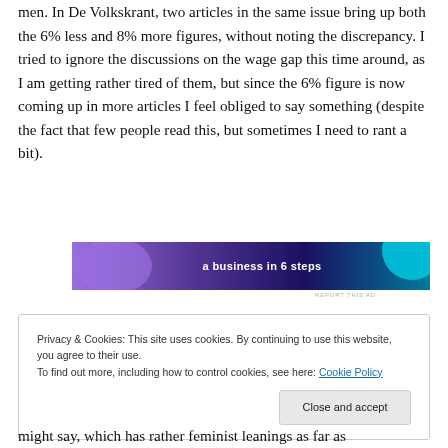men. In De Volkskrant, two articles in the same issue bring up both the 6% less and 8% more figures, without noting the discrepancy. I tried to ignore the discussions on the wage gap this time around, as I am getting rather tired of them, but since the 6% figure is now coming up in more articles I feel obliged to say something (despite the fact that few people read this, but sometimes I need to rant a bit).
[Figure (other): Advertisement banner with purple/dark blue gradient background and teal circle, text reading 'a business in 6 steps']
Privacy & Cookies: This site uses cookies. By continuing to use this website, you agree to their use.
To find out more, including how to control cookies, see here: Cookie Policy
Close and accept
might say, which has rather feminist leanings as far as